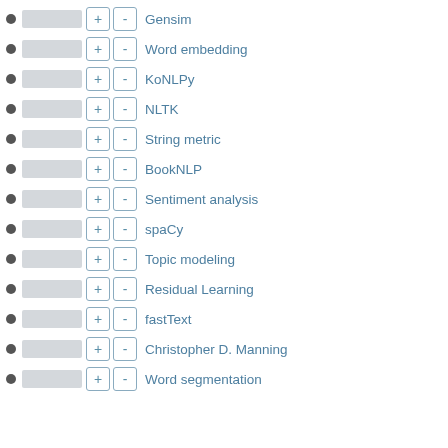Gensim
Word embedding
KoNLPy
NLTK
String metric
BookNLP
Sentiment analysis
spaCy
Topic modeling
Residual Learning
fastText
Christopher D. Manning
Word segmentation